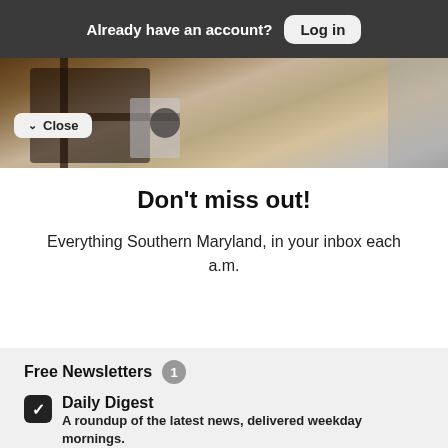Already have an account? Log in
[Figure (photo): Photo of an industrial metal shelf/rack against a brick or stone wall]
Close
Don't miss out!
Everything Southern Maryland, in your inbox each a.m.
Free Newsletters 1
Daily Digest — A roundup of the latest news, delivered weekday mornings.